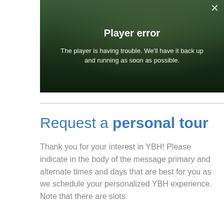[Figure (screenshot): Video player error screen showing an aerial photo of a building campus with a dark overlay and error message: 'Player error — The player is having trouble. We'll have it back up and running as soon as possible.' A close (X) button is in the top right corner.]
Request a personal tour
Thank you for your interest in YBH! Please indicate in the body of the message primary and alternate times and days that are best for you as we schedule your personalized YBH experience. Note that there are slots